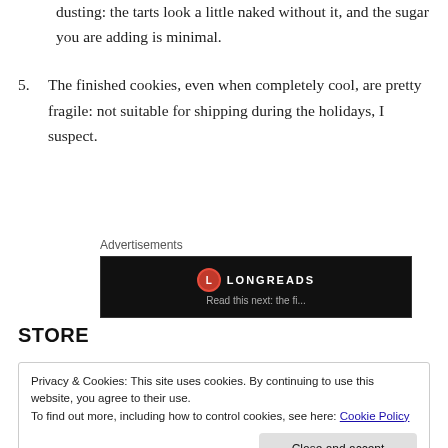dusting: the tarts look a little naked without it, and the sugar you are adding is minimal.
5. The finished cookies, even when completely cool, are pretty fragile: not suitable for shipping during the holidays, I suspect.
[Figure (other): Longreads advertisement banner on a black background with the Longreads logo and partially visible text beneath.]
STORE
Privacy & Cookies: This site uses cookies. By continuing to use this website, you agree to their use.
To find out more, including how to control cookies, see here: Cookie Policy

Close and accept